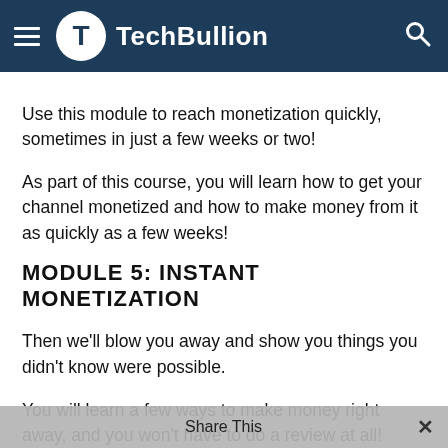TechBullion
Use this module to reach monetization quickly, sometimes in just a few weeks or two!
As part of this course, you will learn how to get your channel monetized and how to make money from it as quickly as a few weeks!
MODULE 5: INSTANT MONETIZATION
Then we'll blow you away and show you things you didn't know were possible.
You will learn a few ways to make money right away, and you won't have to do a review at all!
This is something that took me a long time to figure out, and you won't find it in any other program. You won't want to
Share This